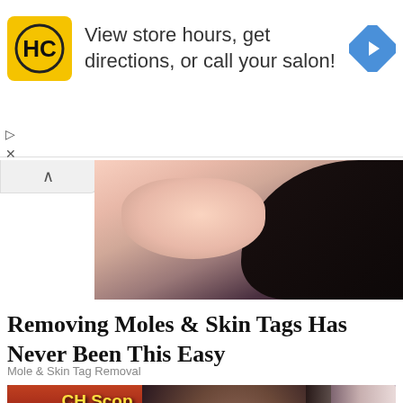[Figure (screenshot): Advertisement banner for HC (Hair Club) salon with yellow logo, text 'View store hours, get directions, or call your salon!' and a blue navigation arrow icon]
[Figure (photo): Close-up cropped photo of a woman's face/chin area with dark hair]
Removing Moles & Skin Tags Has Never Been This Easy
Mole & Skin Tag Removal
[Figure (photo): Photo of a man with glasses and lanyard standing in front of casino slot machines, with another person partially visible on the right]